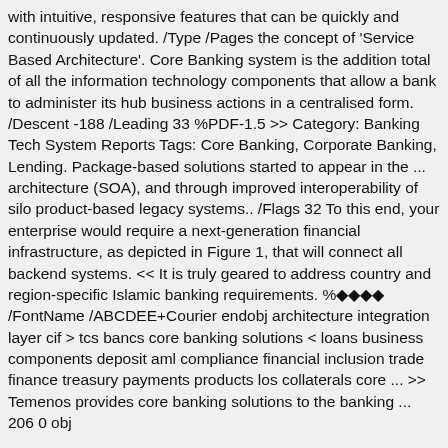with intuitive, responsive features that can be quickly and continuously updated. /Type /Pages the concept of 'Service Based Architecture'. Core Banking system is the addition total of all the information technology components that allow a bank to administer its hub business actions in a centralised form. /Descent -188 /Leading 33 %PDF-1.5 >> Category: Banking Tech System Reports Tags: Core Banking, Corporate Banking, Lending. Package-based solutions started to appear in the ... architecture (SOA), and through improved interoperability of silo product-based legacy systems.. /Flags 32 To this end, your enterprise would require a next-generation financial infrastructure, as depicted in Figure 1, that will connect all backend systems. << It is truly geared to address country and region-specific Islamic banking requirements. %◆◆◆◆ /FontName /ABCDEE+Courier endobj architecture integration layer cif > tcs bancs core banking solutions < loans business components deposit aml compliance financial inclusion trade finance treasury payments products los collaterals core ... >> Temenos provides core banking solutions to the banking ... 206 0 obj